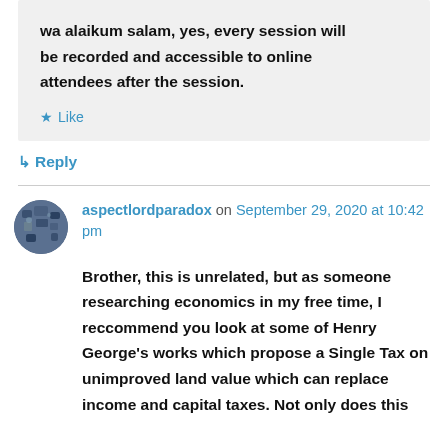wa alaikum salam, yes, every session will be recorded and accessible to online attendees after the session.
★ Like
↳ Reply
aspectlordparadox on September 29, 2020 at 10:42 pm
Brother, this is unrelated, but as someone researching economics in my free time, I reccommend you look at some of Henry George's works which propose a Single Tax on unimproved land value which can replace income and capital taxes. Not only does this